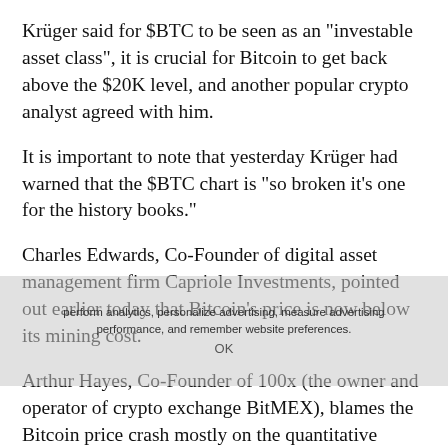Krüger said for $BTC to be seen as an "investable asset class", it is crucial for Bitcoin to get back above the $20K level, and another popular crypto analyst agreed with him.
It is important to note that yesterday Krüger had warned that the $BTC chart is "so broken it's one for the history books."
Charles Edwards, Co-Founder of digital asset management firm Capriole Investments, pointed out earlier today that Bitcoin's price is now below its mining cost.
Arthur Hayes, Co-Founder of 100x (the owner and operator of crypto exchange BitMEX), blames the Bitcoin price crash mostly on the quantitative tightening by the Federal Reserve.
Interestingly, yesterday, Barry Silbert, who is the founder